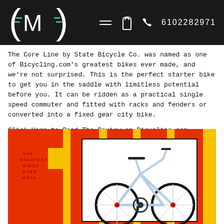(M) logo | hamburger menu | bag icon | phone 6102282971
The Core Line by State Bicycle Co. was named as one of Bicycling.com's greatest bikes ever made, and we're not surprised. This is the perfect starter bike to get you in the saddle with limitless potential before you. It can be ridden as a practical single speed commuter and fitted with racks and fenders or converted into a fixed gear city bike.
Click Here to Read The Review on Bicycling.com
[Figure (photo): Magazine cover image showing a white State Bicycle Co. Core Line fixed gear/single speed bike against a bold yellow, orange, and red graphic background with large text 'THE GREATEST BIKES EVER MADE' in the upper left corner.]